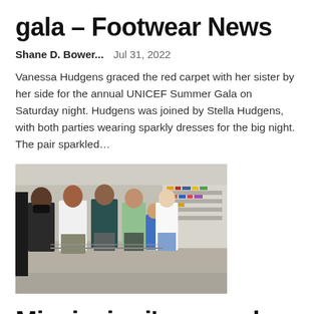gala – Footwear News
Shane D. Bower...   Jul 31, 2022
Vanessa Hudgens graced the red carpet with her sister by her side for the annual UNICEF Summer Gala on Saturday night. Hudgens was joined by Stella Hudgens, with both parties wearing sparkly dresses for the big night. The pair sparkled...
[Figure (photo): People standing in line inside a store, some wearing masks, with shelves visible in the background.]
Mississippi's annual duty-free weekend gets shoppers running